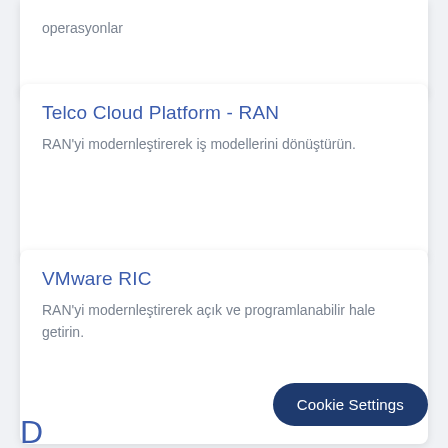operasyonlar
Telco Cloud Platform - RAN
RAN'yi modernleştirerek iş modellerini dönüştürün.
VMware RIC
RAN'yi modernleştirerek açık ve programlanabilir hale getirin.
Cookie Settings